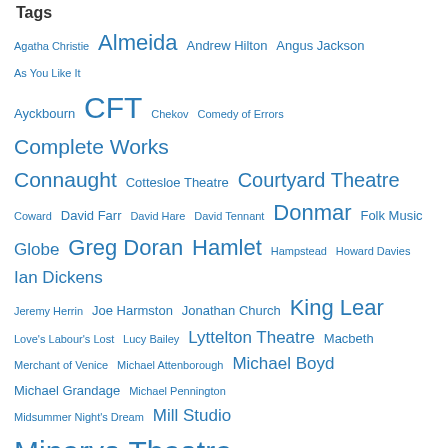Tags
Agatha Christie Almeida Andrew Hilton Angus Jackson As You Like It Ayckbourn CFT Chekov Comedy of Errors Complete Works Connaught Cottesloe Theatre Courtyard Theatre Coward David Farr David Hare David Tennant Donmar Folk Music Globe Greg Doran Hamlet Hampstead Howard Davies Ian Dickens Jeremy Herrin Joe Harmston Jonathan Church King Lear Love's Labour's Lost Lucy Bailey Lyttelton Theatre Macbeth Merchant of Venice Michael Attenborough Michael Boyd Michael Grandage Michael Pennington Midsummer Night's Dream Mill Studio Minerva Theatre Much Ado About Nothing Nicholas Hytner NT old RST Old Vic Olivier Theatre Orange Tree Peter Hall Philip Franks Pinter Puppetry Rattigan Richard II Romeo and Juliet Rose Theatre Roxana Silbert RSC RST Rupert Goold Sam Walters SATTF